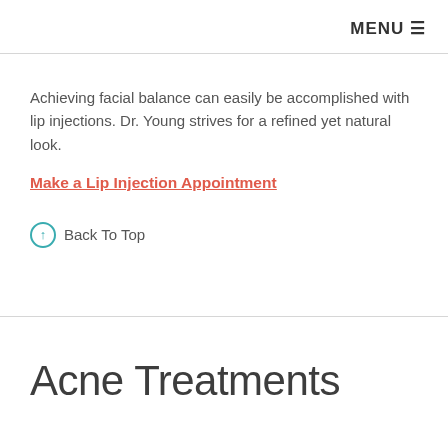MENU ☰
Achieving facial balance can easily be accomplished with lip injections. Dr. Young strives for a refined yet natural look.
Make a Lip Injection Appointment
↑ Back To Top
Acne Treatments